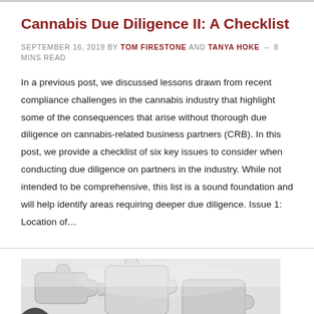Cannabis Due Diligence II: A Checklist
SEPTEMBER 16, 2019 by TOM FIRESTONE AND TANYA HOKE – 8 MINS READ
In a previous post, we discussed lessons drawn from recent compliance challenges in the cannabis industry that highlight some of the consequences that arise without thorough due diligence on cannabis-related business partners (CRB). In this post, we provide a checklist of six key issues to consider when conducting due diligence on partners in the industry. While not intended to be comprehensive, this list is a sound foundation and will help identify areas requiring deeper due diligence. Issue 1: Location of…
[Figure (photo): Close-up photo of white puzzle pieces fitting together]